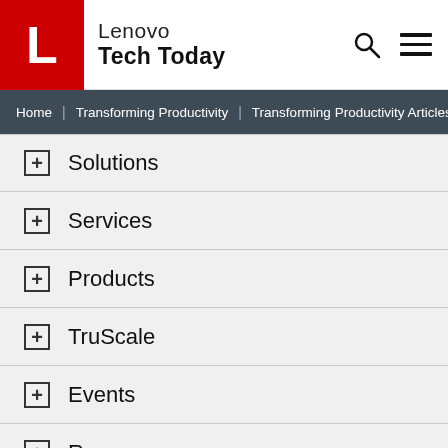Lenovo Tech Today
Home | Transforming Productivity | Transforming Productivity Articles ...
+ Solutions
+ Services
+ Products
+ TruScale
+ Events
+ Resources
+ All Lenovo